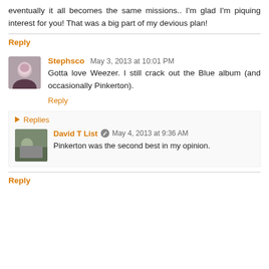eventually it all becomes the same missions.. I'm glad I'm piquing interest for you! That was a big part of my devious plan!
Reply
Stephsco May 3, 2013 at 10:01 PM
Gotta love Weezer. I still crack out the Blue album (and occasionally Pinkerton).
Reply
Replies
David T List May 4, 2013 at 9:36 AM
Pinkerton was the second best in my opinion.
Reply